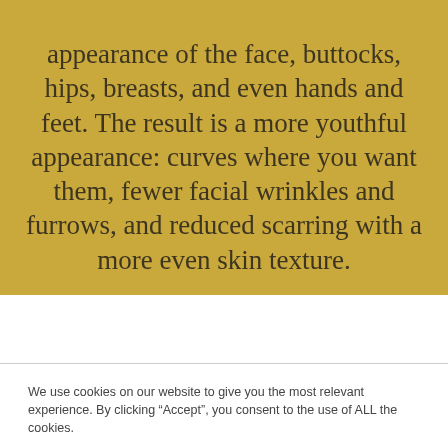appearance of the face, buttocks, hips, breasts, and even hands and feet. The result is a more youthful appearance: curves where you want them, fewer facial wrinkles and furrows, and reduced scarring with a more even skin texture.
We use cookies on our website to give you the most relevant experience. By clicking “Accept”, you consent to the use of ALL the cookies.